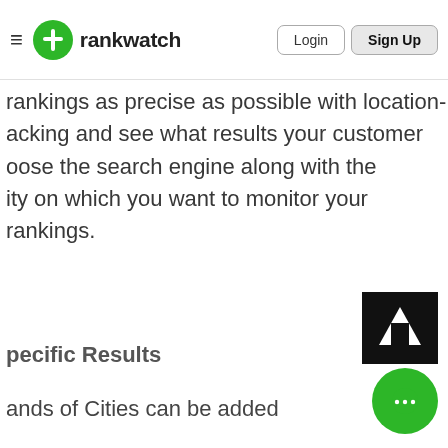rankwatch — Login | Sign Up
rankings as precise as possible with location-acking and see what results your customer oose the search engine along with the ity on which you want to monitor your rankings.
pecific Results
ands of Cities can be added
[Figure (screenshot): Screenshot of a UI panel showing a Triggers configuration section with form fields including a select dropdown and condition fields.]